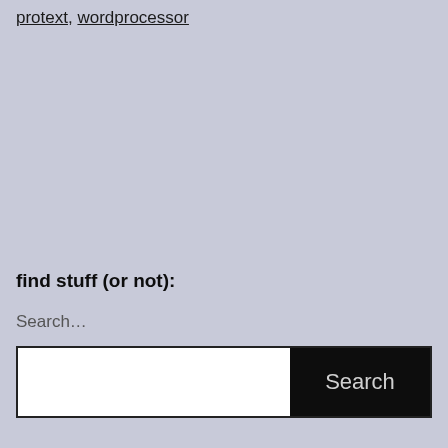protext, wordprocessor
find stuff (or not):
Search…
[Figure (screenshot): Search input field with white background and a black 'Search' button on the right]